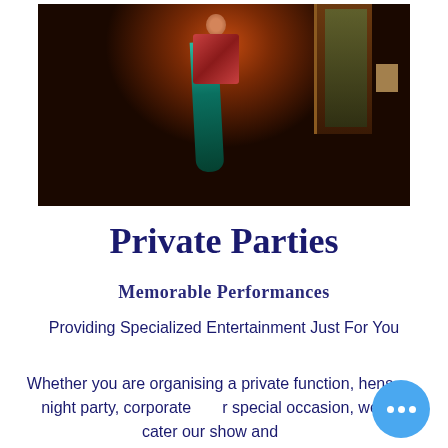[Figure (photo): Dark performance photo showing a belly dancer or performer in teal/green flowing costume with orange/red lighting and dark background]
Private Parties
Memorable Performances
Providing Specialized Entertainment Just For You
Whether you are organising a private function, hens night party, corporate or special occasion, we cater our show and